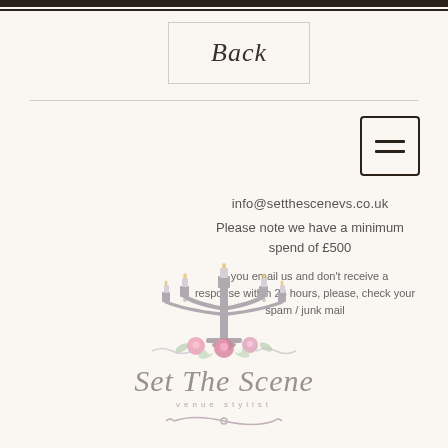Back
[Figure (illustration): Hamburger menu icon — three horizontal lines in a rounded square border]
info@setthescenevs.co.uk
Please note we have a minimum spend of £500
If you email us and don't receive a response within 24 hours, please, check your spam / junk mail
[Figure (logo): Set The Scene venue stylist logo — grey candelabra with pink roses and floral arrangement, cursive script brand name, decorative scrollwork beneath]